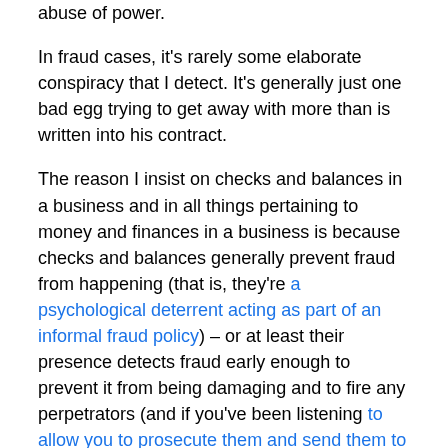abuse of power.
In fraud cases, it's rarely some elaborate conspiracy that I detect. It's generally just one bad egg trying to get away with more than is written into his contract.
The reason I insist on checks and balances in a business and in all things pertaining to money and finances in a business is because checks and balances generally prevent fraud from happening (that is, they're a psychological deterrent acting as part of an informal fraud policy) – or at least their presence detects fraud early enough to prevent it from being damaging and to fire any perpetrators (and if you've been listening to allow you to prosecute them and send them to jail).
Crooks are generally creative, or at least they have a knack for seeing the flaw in a system and subsequently